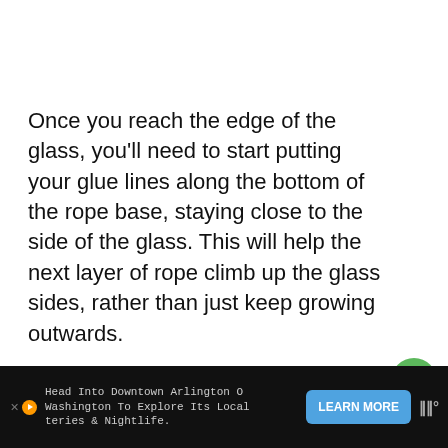Once you reach the edge of the glass, you'll need to start putting your glue lines along the bottom of the rope base, staying close to the side of the glass. This will help the next layer of rope climb up the glass sides, rather than just keep growing outwards.
[Figure (photo): Close-up photo of a hand holding rope against a burlap/canvas textured surface, with a 'What's Next' overlay showing a circular thumbnail and text 'Create Your Own Authen...']
WHAT'S NEXT → Create Your Own Authen...
Head Into Downtown Arlington O Washington To Explore Its Local teries & Nightlife.
LEARN MORE